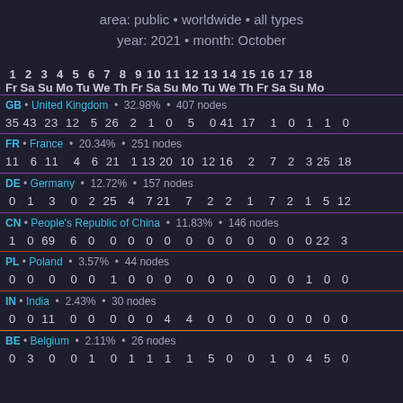area: public • worldwide • all types
year: 2021 • month: October
| 1 Fr | 2 Sa | 3 Su | 4 Mo | 5 Tu | 6 We | 7 Th | 8 Fr | 9 Sa | 10 Su | 11 Mo | 12 Tu | 13 We | 14 Th | 15 Fr | 16 Sa | 17 Su | 18 Mo |
| --- | --- | --- | --- | --- | --- | --- | --- | --- | --- | --- | --- | --- | --- | --- | --- | --- | --- |
| GB | United Kingdom | 32.98% | 407 nodes |
| 35 | 43 | 23 | 12 | 5 | 26 | 2 | 1 | 0 | 5 | 0 | 41 | 17 | 1 | 0 | 1 | 1 | 0 |
| FR | France | 20.34% | 251 nodes |
| 11 | 6 | 11 | 4 | 6 | 21 | 1 | 13 | 20 | 10 | 12 | 16 | 2 | 7 | 2 | 3 | 25 | 18 |
| DE | Germany | 12.72% | 157 nodes |
| 0 | 1 | 3 | 0 | 2 | 25 | 4 | 7 | 21 | 7 | 2 | 2 | 1 | 7 | 2 | 1 | 5 | 12 |
| CN | People's Republic of China | 11.83% | 146 nodes |
| 1 | 0 | 69 | 6 | 0 | 0 | 0 | 0 | 0 | 0 | 0 | 0 | 0 | 0 | 0 | 0 | 22 | 3 |
| PL | Poland | 3.57% | 44 nodes |
| 0 | 0 | 0 | 0 | 0 | 1 | 0 | 0 | 0 | 0 | 0 | 0 | 0 | 0 | 0 | 1 | 0 | 0 |
| IN | India | 2.43% | 30 nodes |
| 0 | 0 | 11 | 0 | 0 | 0 | 0 | 0 | 4 | 4 | 0 | 0 | 0 | 0 | 0 | 0 | 0 | 0 |
| BE | Belgium | 2.11% | 26 nodes |
| 0 | 3 | 0 | 0 | 1 | 0 | 1 | 1 | 1 | 1 | 5 | 0 | 0 | 1 | 0 | 4 | 5 | 0 |